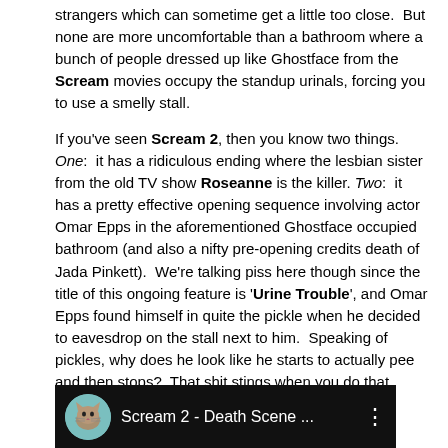strangers which can sometime get a little too close.  But none are more uncomfortable than a bathroom where a bunch of people dressed up like Ghostface from the Scream movies occupy the standup urinals, forcing you to use a smelly stall.
If you've seen Scream 2, then you know two things.  One:  it has a ridiculous ending where the lesbian sister from the old TV show Roseanne is the killer. Two:  it has a pretty effective opening sequence involving actor Omar Epps in the aforementioned Ghostface occupied bathroom (and also a nifty pre-opening credits death of Jada Pinkett).  We're talking piss here though since the title of this ongoing feature is 'Urine Trouble', and Omar Epps found himself in quite the pickle when he decided to eavesdrop on the stall next to him.  Speaking of pickles, why does he look like he starts to actually pee and then stops?  That shit stings when you do that.
[Figure (screenshot): Video thumbnail showing 'Scream 2 - Death Scene ...' with a cat avatar icon on dark/black background with a three-dot menu icon on the right.]